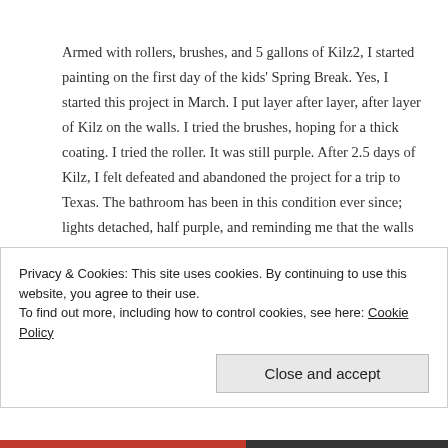Armed with rollers, brushes, and 5 gallons of Kilz2, I started painting on the first day of the kids' Spring Break. Yes, I started this project in March. I put layer after layer, after layer of Kilz on the walls. I tried the brushes, hoping for a thick coating. I tried the roller. It was still purple. After 2.5 days of Kilz, I felt defeated and abandoned the project for a trip to Texas. The bathroom has been in this condition ever since; lights detached, half purple, and reminding me that the walls had won.
Privacy & Cookies: This site uses cookies. By continuing to use this website, you agree to their use.
To find out more, including how to control cookies, see here: Cookie Policy
Close and accept